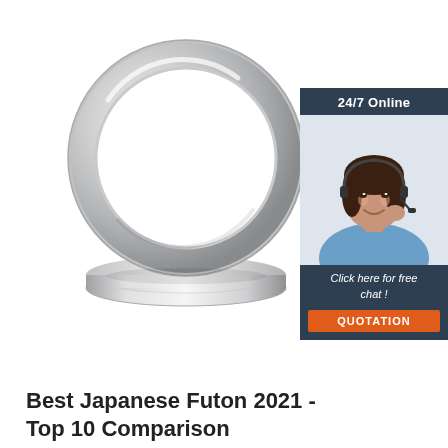[Figure (illustration): Two silver/platinum wedding bands, one standing upright and one lying flat, on a white background]
[Figure (infographic): Advertisement box with dark navy background. Top section shows '24/7 Online' header text. Middle section shows a woman with a headset smiling. Bottom section shows italic text 'Click here for free chat !' and an orange button labeled 'QUOTATION']
Best Japanese Futon 2021 - Top 10 Comparison